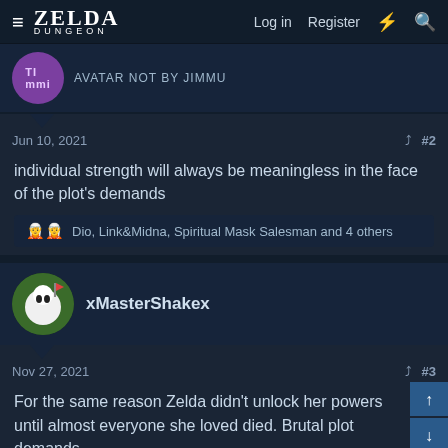ZELDA DUNGEON — Log in  Register
AVATAR NOT BY JIMMU
Jun 10, 2021  #2
individual strength will always be meaningless in the face of the plot's demands
Dio, Link&Midna, Spiritual Mask Salesman and 4 others
xMasterShakex
Nov 27, 2021  #3
For the same reason Zelda didn't unlock her powers until almost everyone she loved died. Brutal plot demands.
Mellow Ezlo